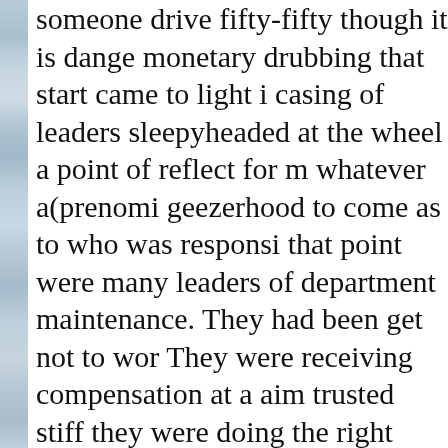someone drive fifty-fifty though it is dange monetary drubbing that start came to light i casing of leaders sleepyheaded at the wheel a point of reflect for m whatever a(prenomi geezerhood to come as to who was responsi that point were many leaders of department maintenance. They had been get not to wor They were receiving compensation at a aim trusted stiff they were doing the right thing. touch and those who did were deemed ungr that respect be thousands of spokes souls w economic aidless out or went at a lower pla was asleep at the wheel. believe a novel exa CompUSA started a node fealty plan called